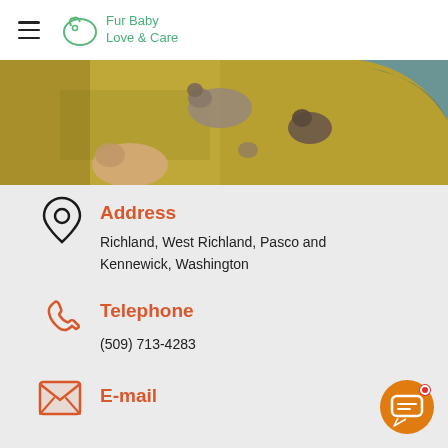Fur Baby Love & Care
[Figure (photo): Overhead photo of kittens playing on a yellow/olive carpet with a blue toy dish]
Address
Richland, West Richland, Pasco and Kennewick, Washington
Telephone
(509) 713-4283
E-mail